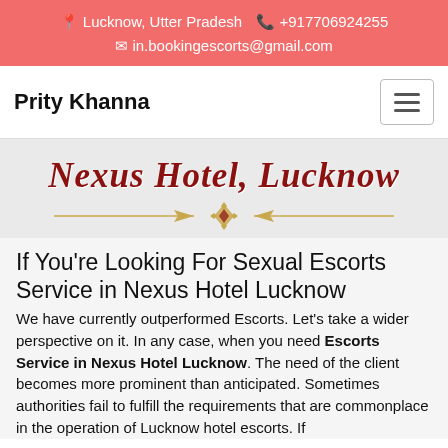📍 Lucknow, Utter Pradesh 📞 +917706924255 ✉ in.bookingescorts@gmail.com
Prity Khanna
[Figure (illustration): Nexus Hotel, Lucknow — decorative title graphic with gold divider]
If You're Looking For Sexual Escorts Service in Nexus Hotel Lucknow
We have currently outperformed Escorts. Let's take a wider perspective on it. In any case, when you need Escorts Service in Nexus Hotel Lucknow. The need of the client becomes more prominent than anticipated. Sometimes authorities fail to fulfill the requirements that are commonplace in the operation of Lucknow hotel escorts. If